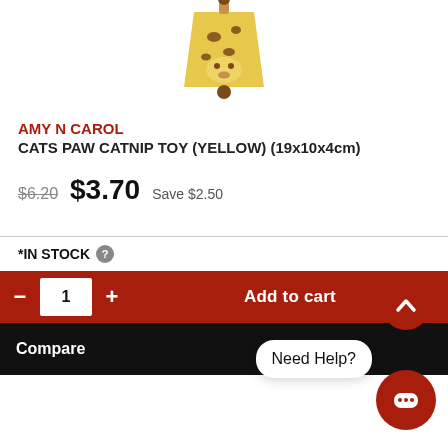[Figure (photo): Yellow giraffe-shaped cat catnip toy, partially visible at top of page]
AMY N CAROL
CATS PAW CATNIP TOY (YELLOW) (19x10x4cm)
$6.20  $3.70  Save $2.50
*IN STOCK
- 1 + Add to cart
Compare
Need Help?